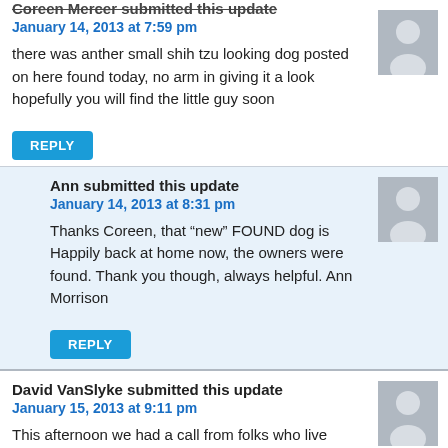Coreen Mercer submitted this update
January 14, 2013 at 7:59 pm
there was anther small shih tzu looking dog posted on here found today, no arm in giving it a look hopefully you will find the little guy soon
REPLY
Ann submitted this update
January 14, 2013 at 8:31 pm
Thanks Coreen, that “new” FOUND dog is Happily back at home now, the owners were found. Thank you though, always helpful. Ann Morrison
REPLY
David VanSlyke submitted this update
January 15, 2013 at 9:11 pm
This afternoon we had a call from folks who live across the road from the Oakfield Park Road. Late last week (Thursday?) they recalled seeing a small black dog that they did not recognize (and which